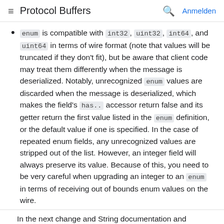Protocol Buffers  Anmelden
enum is compatible with int32, uint32, int64, and uint64 in terms of wire format (note that values will be truncated if they don't fit), but be aware that client code may treat them differently when the message is deserialized. Notably, unrecognized enum values are discarded when the message is deserialized, which makes the field's has.. accessor return false and its getter return the first value listed in the enum definition, or the default value if one is specified. In the case of repeated enum fields, any unrecognized values are stripped out of the list. However, an integer field will always preserve its value. Because of this, you need to be very careful when upgrading an integer to an enum in terms of receiving out of bounds enum values on the wire.
In the next change and String documentation and ...